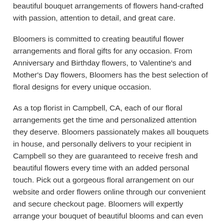beautiful bouquet arrangements of flowers hand-crafted with passion, attention to detail, and great care.
Bloomers is committed to creating beautiful flower arrangements and floral gifts for any occasion. From Anniversary and Birthday flowers, to Valentine's and Mother's Day flowers, Bloomers has the best selection of floral designs for every unique occasion.
As a top florist in Campbell, CA, each of our floral arrangements get the time and personalized attention they deserve. Bloomers passionately makes all bouquets in house, and personally delivers to your recipient in Campbell so they are guaranteed to receive fresh and beautiful flowers every time with an added personal touch. Pick out a gorgeous floral arrangement on our website and order flowers online through our convenient and secure checkout page. Bloomers will expertly arrange your bouquet of beautiful blooms and can even create a custom arrangement or gift basket for your special occasion.
Bloomers offers flower delivery in and around Campbell, as well as nationwide delivery through our reliable florist network! Bloomers